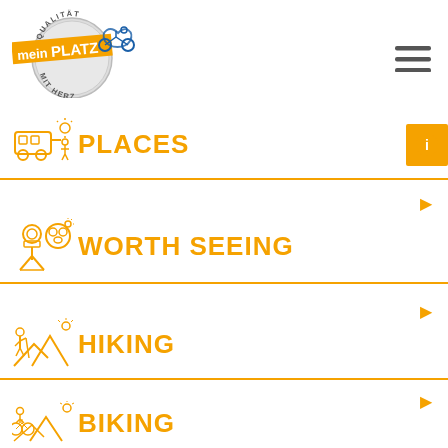[Figure (logo): mein PLATZ mit Herz quality seal logo with orange banner and bicycle silhouette]
[Figure (other): Hamburger menu icon (three horizontal lines)]
PLACES
WORTH SEEING
HIKING
BIKING